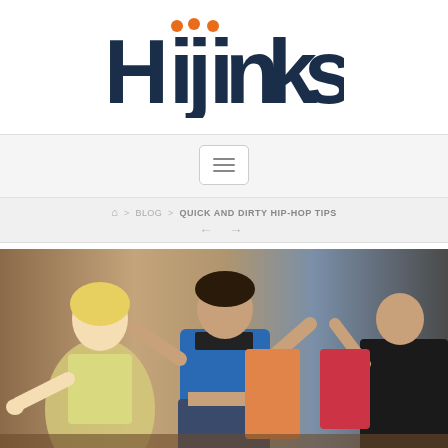[Figure (logo): Hijinks logo with dark navy text and orange dots above the letter i]
[Figure (screenshot): Hamburger menu button with three horizontal lines]
⌂ > BLOG > QUICK AND DIRTY HIP-HOP TIPS
[Figure (photo): Group of women dancing hip-hop in a studio, center dancer wearing blue top and jeans]